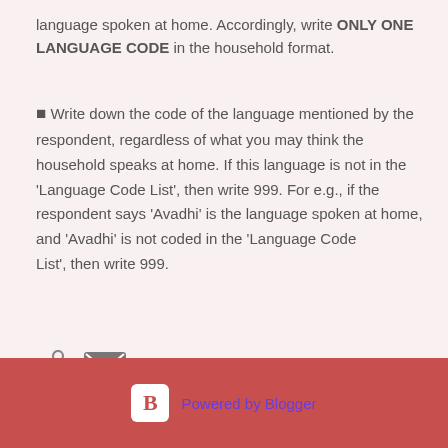language spoken at home. Accordingly, write ONLY ONE LANGUAGE CODE in the household format.
■ Write down the code of the language mentioned by the respondent, regardless of what you may think the household speaks at home. If this language is not in the 'Language Code List', then write 999. For e.g., if the respondent says 'Avadhi' is the language spoken at home, and 'Avadhi' is not coded in the 'Language Code List', then write 999.
[Figure (infographic): Share icon and email/envelope icon]
Powered by Blogger